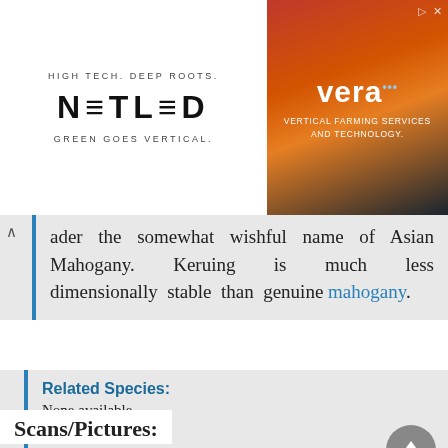[Figure (illustration): Advertisement banner: left side shows NETLED logo with taglines 'HIGH TECH. DEEP ROOTS.' and 'GREEN GOES VERTICAL.' Right side shows Vera vertical farming services ad with orange/red photo background.]
der the somewhat wishful name of Asian Mahogany. Keruing is much less dimensionally stable than genuine mahogany.
Related Species:
None available.
Related Articles:
Restricted and Endangered Wood Species
Scans/Pictures: